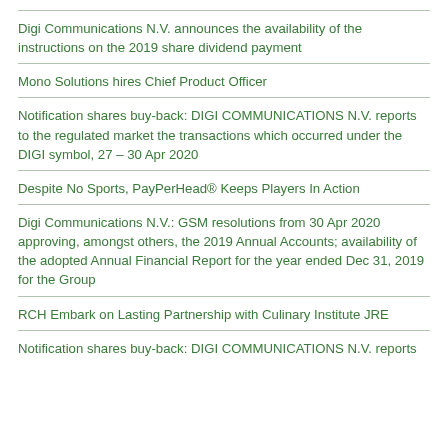Digi Communications N.V. announces the availability of the instructions on the 2019 share dividend payment
Mono Solutions hires Chief Product Officer
Notification shares buy-back: DIGI COMMUNICATIONS N.V. reports to the regulated market the transactions which occurred under the DIGI symbol, 27 – 30 Apr 2020
Despite No Sports, PayPerHead® Keeps Players In Action
Digi Communications N.V.: GSM resolutions from 30 Apr 2020 approving, amongst others, the 2019 Annual Accounts; availability of the adopted Annual Financial Report for the year ended Dec 31, 2019 for the Group
RCH Embark on Lasting Partnership with Culinary Institute JRE
Notification shares buy-back: DIGI COMMUNICATIONS N.V. reports